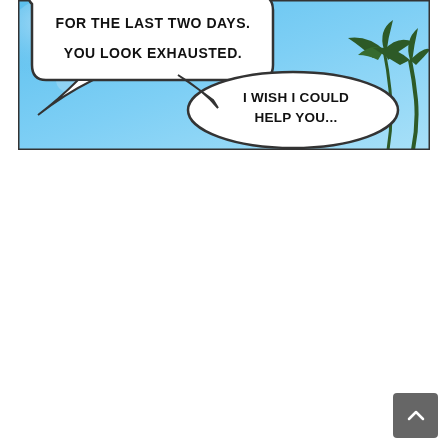[Figure (illustration): Manga/comic panel with a blue sky background and palm tree silhouettes. Two speech bubbles: the first (top-left, partially cropped) reads 'FOR THE LAST TWO DAYS. YOU LOOK EXHAUSTED.' and the second (center-right) reads 'I WISH I COULD HELP YOU...']